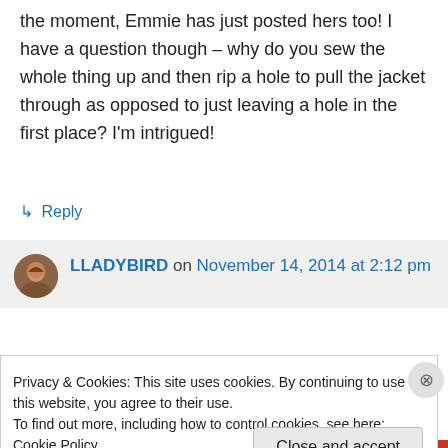the moment, Emmie has just posted hers too! I have a question though – why do you sew the whole thing up and then rip a hole to pull the jacket through as opposed to just leaving a hole in the first place? I'm intrigued!
↳ Reply
LLADYBIRD on November 14, 2014 at 2:12 pm
Privacy & Cookies: This site uses cookies. By continuing to use this website, you agree to their use.
To find out more, including how to control cookies, see here: Cookie Policy
Close and accept